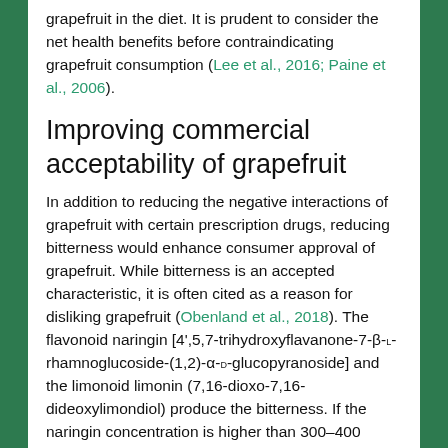grapefruit in the diet. It is prudent to consider the net health benefits before contraindicating grapefruit consumption (Lee et al., 2016; Paine et al., 2006).
Improving commercial acceptability of grapefruit
In addition to reducing the negative interactions of grapefruit with certain prescription drugs, reducing bitterness would enhance consumer approval of grapefruit. While bitterness is an accepted characteristic, it is often cited as a reason for disliking grapefruit (Obenland et al., 2018). The flavonoid naringin [4',5,7-trihydroxyflavanone-7-β-L-rhamnoglucoside-(1,2)-α-D-glucopyranoside] and the limonoid limonin (7,16-dioxo-7,16-dideoxylimondiol) produce the bitterness. If the naringin concentration is higher than 300–400 μg·mL⁻¹, grapefruit juice is considered bitter (Soares and Hotchkiss, 1998). Grapefruit